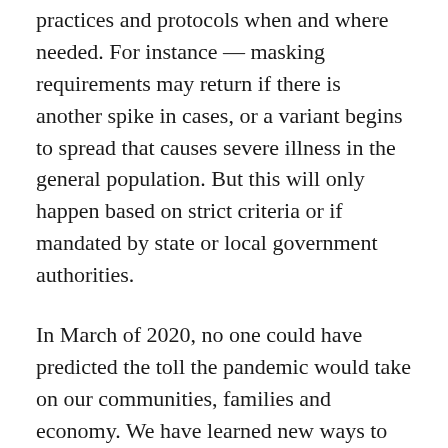developments closely and will be prepared to reinstitute practices and protocols when and where needed. For instance — masking requirements may return if there is another spike in cases, or a variant begins to spread that causes severe illness in the general population. But this will only happen based on strict criteria or if mandated by state or local government authorities.
In March of 2020, no one could have predicted the toll the pandemic would take on our communities, families and economy. We have learned new ways to work and have seen firsthand how resilient we can be when we pull together as a team.
As we see our way out of the pandemic, thank you for being the team we could rely on no matter what.
This article was originally published by Cnbc.com. Read the